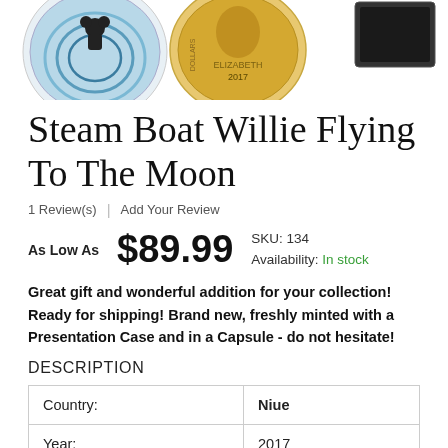[Figure (photo): Three collectible coins partially visible at top: a colorized coin on the left showing a figure on water, a gold coin in the center with '2017' and 'ELIZABETH', and a dark rectangular item on the right.]
Steam Boat Willie Flying To The Moon
1 Review(s)  |  Add Your Review
As Low As  $89.99  SKU: 134  Availability: In stock
Great gift and wonderful addition for your collection! Ready for shipping! Brand new, freshly minted with a Presentation Case and in a Capsule - do not hesitate!
DESCRIPTION
| Country: | Niue |
| Year: | 2017 |